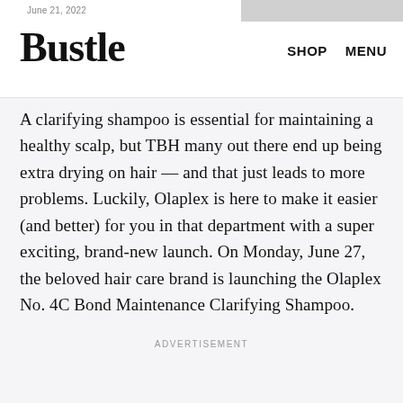June 21, 2022
Bustle
SHOP   MENU
A clarifying shampoo is essential for maintaining a healthy scalp, but TBH many out there end up being extra drying on hair — and that just leads to more problems. Luckily, Olaplex is here to make it easier (and better) for you in that department with a super exciting, brand-new launch. On Monday, June 27, the beloved hair care brand is launching the Olaplex No. 4C Bond Maintenance Clarifying Shampoo.
ADVERTISEMENT